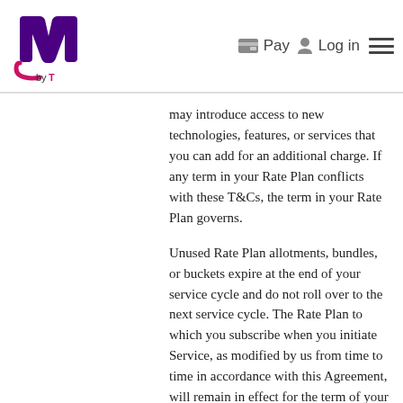m by T | Pay | Log in
may introduce access to new technologies, features, or services that you can add for an additional charge. If any term in your Rate Plan conflicts with these T&Cs, the term in your Rate Plan governs.
Unused Rate Plan allotments, bundles, or buckets expire at the end of your service cycle and do not roll over to the next service cycle. The Rate Plan to which you subscribe when you initiate Service, as modified by us from time to time in accordance with this Agreement, will remain in effect for the term of your Service until or unless we change your Rate Plan or you choose to subscribe to a different Rate Plan, if available to you. If we offer more than one Rate Plan in your area and you wish to change the Rate Plan to which you subscribe, you may contact us to request a change in your Rate Plan to any other Rate Plan for which you are eligible. Rate Plan changes may not be effective immediately